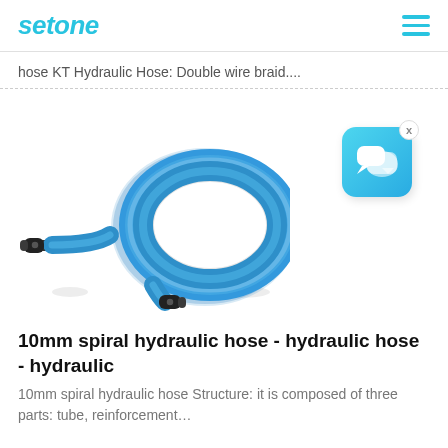setone
hose KT Hydraulic Hose: Double wire braid....
[Figure (logo): Chat/messaging app icon — blue rounded square with two overlapping speech bubble icons in white, with a small X close button in the top-right corner]
[Figure (photo): Blue spiral hydraulic hose coiled in a circle with black metal fittings at each end, shown on white background]
10mm spiral hydraulic hose - hydraulic hose - hydraulic
10mm spiral hydraulic hose Structure: it is composed of three parts: tube, reinforcement…